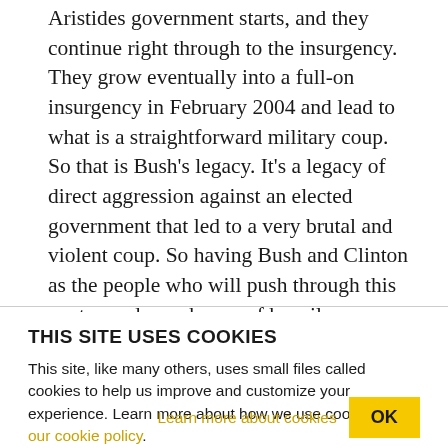Aristides government starts, and they continue right through to the insurgency. They grow eventually into a full-on insurgency in February 2004 and lead to what is a straightforward military coup. So that is Bush's legacy. It's a legacy of direct aggression against an elected government that led to a very brutal and violent coup. So having Bush and Clinton as the people who will push through this next round, you know, of heavily managed interference in their country makes me worry. Yes, there's a need for emergency relief. That's undeniable. But on what
THIS SITE USES COOKIES
This site, like many others, uses small files called cookies to help us improve and customize your experience. Learn more about how we use cookies in our cookie policy.
Learn more about cookies
OK